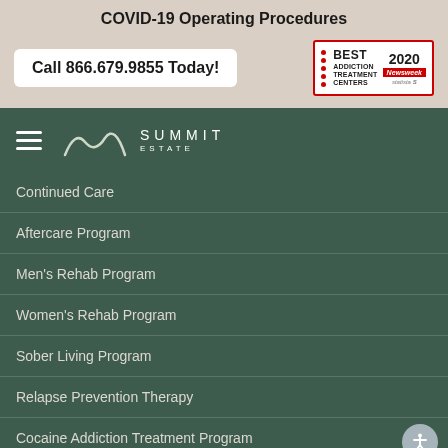COVID-19 Operating Procedures
Call 866.679.9855 Today!
[Figure (logo): Best Addiction Treatment Centers 2020 - Newsweek / Statista badge]
[Figure (logo): Summit Estate logo with mountain icon, hamburger menu]
Continued Care
Aftercare Program
Men's Rehab Program
Women's Rehab Program
Sober Living Program
Relapse Prevention Therapy
Cocaine Addiction Treatment Program